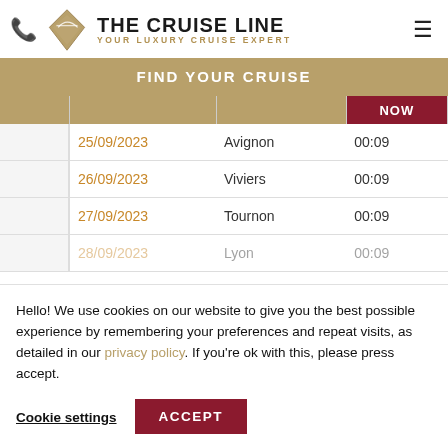The Cruise Line - Your Luxury Cruise Expert
FIND YOUR CRUISE
|  |  | ... | NOW |
| --- | --- | --- | --- |
|  | 25/09/2023 | Avignon | 00:09 |
|  | 26/09/2023 | Viviers | 00:09 |
|  | 27/09/2023 | Tournon | 00:09 |
|  | 28/09/2023 | Lyon | 00:09 |
Hello! We use cookies on our website to give you the best possible experience by remembering your preferences and repeat visits, as detailed in our privacy policy. If you're ok with this, please press accept.
Cookie settings
ACCEPT